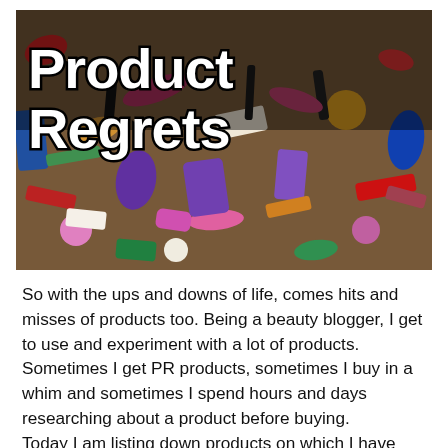[Figure (photo): A collage/pile of assorted beauty and cosmetic products including makeup, nail polishes, and accessories, with bold white text 'Product Regrets' overlaid on the top portion of the image.]
So with the ups and downs of life, comes hits and misses of products too. Being a beauty blogger, I get to use and experiment with a lot of products. Sometimes I get PR products, sometimes I buy in a whim and sometimes I spend hours and days researching about a product before buying.
Today I am listing down products on which I have wasted my time and money and I hope